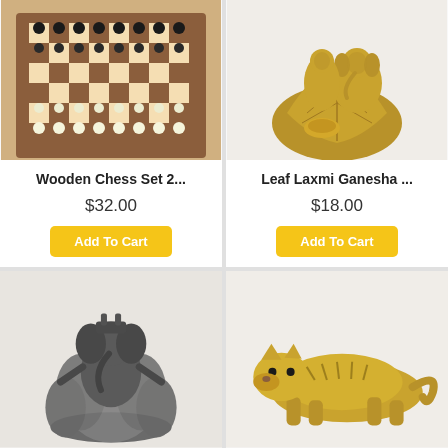[Figure (photo): Wooden chess set with board and pieces arranged]
Wooden Chess Set 2...
$32.00
Add To Cart
[Figure (photo): Gold-colored Leaf Laxmi Ganesha figurine]
Leaf Laxmi Ganesha ...
$18.00
Add To Cart
[Figure (photo): Dark metal Ganesha figurine on lotus]
[Figure (photo): Gold-colored metal tiger figurine]